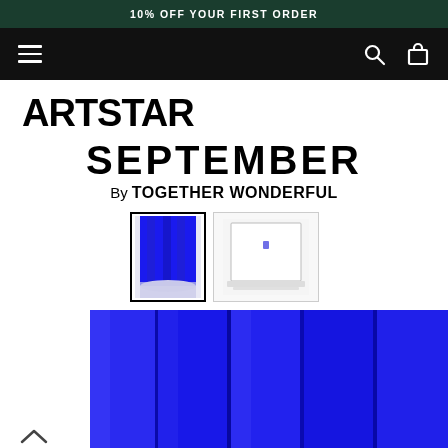10% OFF YOUR FIRST ORDER
[Figure (screenshot): Navigation bar with hamburger menu icon on left, search and shopping bag icons on right, black background]
ARTSTAR
SEPTEMBER
By TOGETHER WONDERFUL
[Figure (photo): Two product thumbnails: first shows a blue abstract artwork with black border (selected/active), second shows the same artwork with a frame mockup on white background]
[Figure (photo): Large blue abstract artwork with vertical folded/pleated forms, vivid electric blue color, partially cropped]